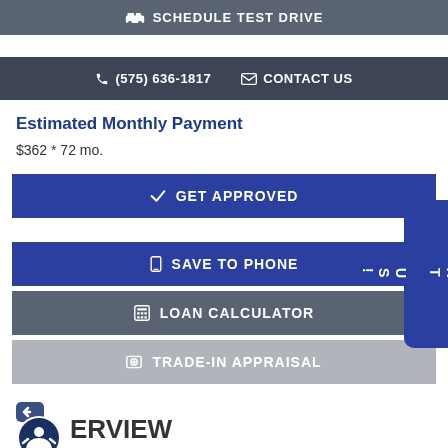SCHEDULE TEST DRIVE
(575) 636-1817   CONTACT US
Estimated Monthly Payment
$362 * 72 mo.
GET APPROVED
SAVE TO PHONE
LOAN CALCULATOR
TRADE-IN APPRAISAL
ERVIEW